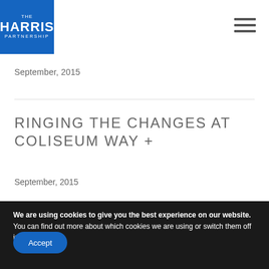THE HARRIS PARTNERSHIP
September, 2015
RINGING THE CHANGES AT COLISEUM WAY +
September, 2015
We are using cookies to give you the best experience on our website.
You can find out more about which cookies we are using or switch them off in settings.
Accept